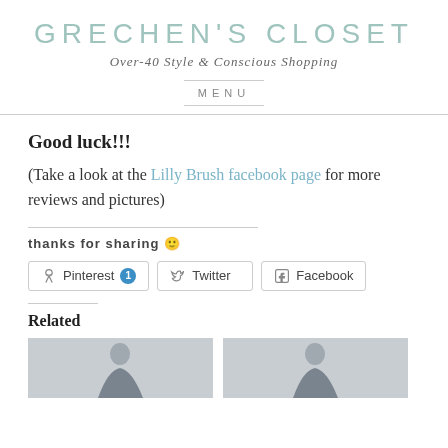GRECHEN'S CLOSET
Over-40 Style & Conscious Shopping
MENU
Good luck!!!
(Take a look at the Lilly Brush facebook page for more reviews and pictures)
thanks for sharing 🙂
[Figure (other): Social share buttons: Pinterest (1), Twitter, Facebook]
Related
[Figure (photo): Two related article thumbnail photos showing people in clothing]